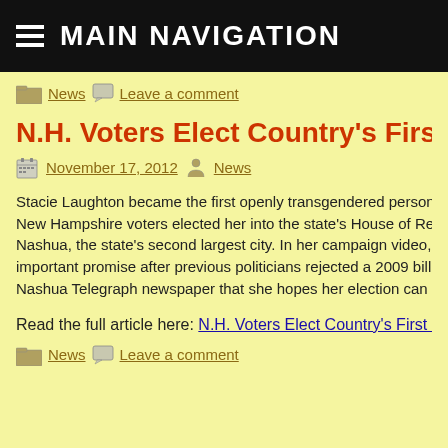MAIN NAVIGATION
News   Leave a comment
N.H. Voters Elect Country's First Out Tran
November 17, 2012   News
Stacie Laughton became the first openly transgendered person in th New Hampshire voters elected her into the state's House of Repres Nashua, the state's second largest city. In her campaign video, Lau important promise after previous politicians rejected a 2009 bill to a Nashua Telegraph newspaper that she hopes her election can inspi
Read the full article here: N.H. Voters Elect Country's First Out Tran
News   Leave a comment